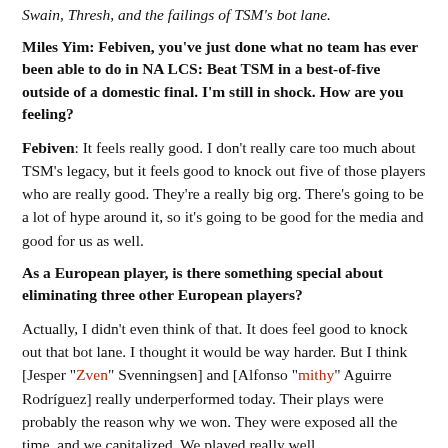Swain, Thresh, and the failings of TSM's bot lane.
Miles Yim: Febiven, you've just done what no team has ever been able to do in NA LCS: Beat TSM in a best-of-five outside of a domestic final. I'm still in shock. How are you feeling?
Febiven: It feels really good. I don't really care too much about TSM's legacy, but it feels good to knock out five of those players who are really good. They're a really big org. There's going to be a lot of hype around it, so it's going to be good for the media and good for us as well.
As a European player, is there something special about eliminating three other European players?
Actually, I didn't even think of that. It does feel good to knock out that bot lane. I thought it would be way harder. But I think [Jesper "Zven" Svenningsen] and [Alfonso "mithy" Aguirre Rodríguez] really underperformed today. Their plays were probably the reason why we won. They were exposed all the time, and we capitalized. We played really well.
You also have some prior European history in EU LCS...